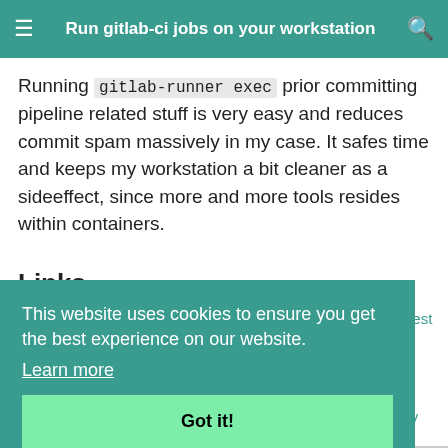Run gitlab-ci jobs on your workstation
Running gitlab-runner exec prior committing pipeline related stuff is very easy and reduces commit spam massively in my case. It safes time and keeps my workstation a bit cleaner as a sideeffect, since more and more tools resides within containers.
Links
gitlab.com - Run gitlab-runner exec on your computer to test your pipelines in CI
blog.asksven.io - Testing gitlab-ci pipelines locally
medium.com - How to Test Gitlab Ci Locally
www.akitaonrails.com - Running GitLab CI Runner Locally
This website uses cookies to ensure you get the best experience on our website. Learn more
Got it!